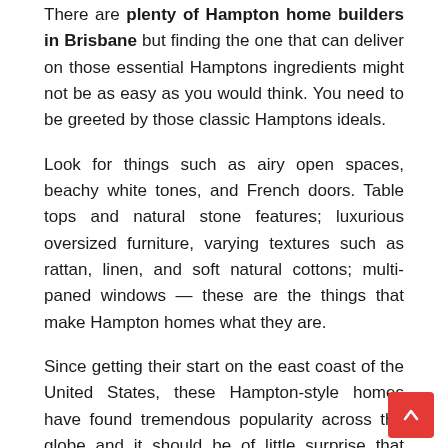There are plenty of Hampton home builders in Brisbane but finding the one that can deliver on those essential Hamptons ingredients might not be as easy as you would think. You need to be greeted by those classic Hamptons ideals.
Look for things such as airy open spaces, beachy white tones, and French doors. Table tops and natural stone features; luxurious oversized furniture, varying textures such as rattan, linen, and soft natural cottons; multi-paned windows — these are the things that make Hampton homes what they are.
Since getting their start on the east coast of the United States, these Hampton-style homes have found tremendous popularity across the globe and it should be of little surprise that Queensland is no exception.
A Classic Look with a Custom Touch